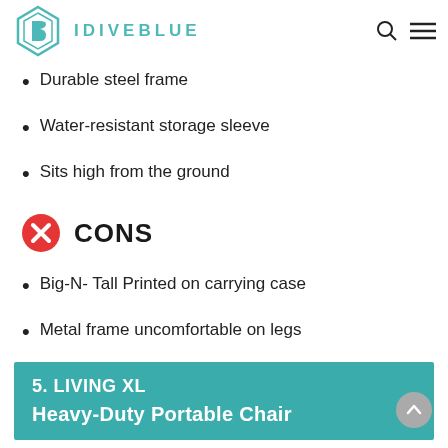IDIVEBLUE
Durable steel frame
Water-resistant storage sleeve
Sits high from the ground
CONS
Big-N- Tall Printed on carrying case
Metal frame uncomfortable on legs
5. LIVING XL
Heavy-Duty Portable Chair